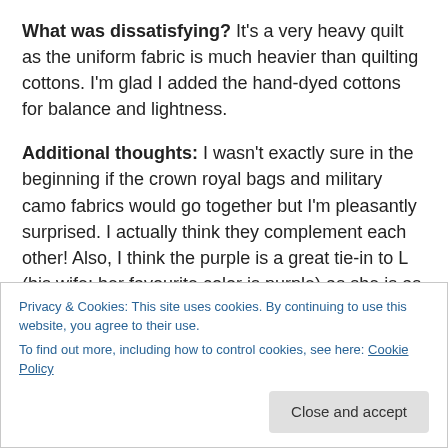What was dissatisfying? It's a very heavy quilt as the uniform fabric is much heavier than quilting cottons. I'm glad I added the hand-dyed cottons for balance and lightness.
Additional thoughts: I wasn't exactly sure in the beginning if the crown royal bags and military camo fabrics would go together but I'm pleasantly surprised. I actually think they complement each other! Also, I think the purple is a great tie-in to L (his wife; her favourite color is purple) as she is as much retiring from the military as K3 is.
Privacy & Cookies: This site uses cookies. By continuing to use this website, you agree to their use. To find out more, including how to control cookies, see here: Cookie Policy
Close and accept